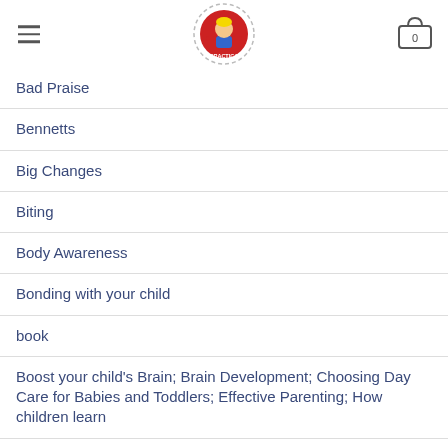Practica logo navigation header
Bad Praise
Bennetts
Big Changes
Biting
Body Awareness
Bonding with your child
book
Boost your child's Brain; Brain Development; Choosing Day Care for Babies and Toddlers; Effective Parenting; How children learn
Boost your child's Brain; Speech Development
boundaries
Brain Development